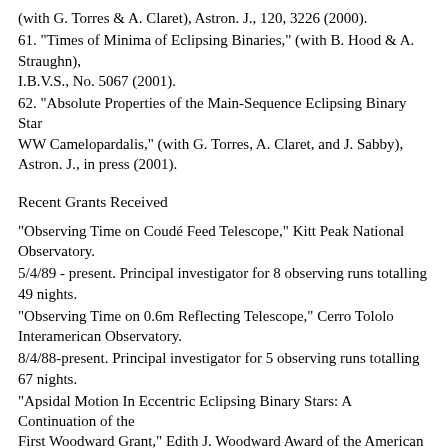(with G. Torres & A. Claret), Astron. J., 120, 3226 (2000).
61. "Times of Minima of Eclipsing Binaries," (with B. Hood & A. Straughn), I.B.V.S., No. 5067 (2001).
62. "Absolute Properties of the Main-Sequence Eclipsing Binary Star WW Camelopardalis," (with G. Torres, A. Claret, and J. Sabby), Astron. J., in press (2001).
Recent Grants Received
"Observing Time on Coudé Feed Telescope," Kitt Peak National Observatory.
5/4/89 - present. Principal investigator for 8 observing runs totalling 49 nights.
"Observing Time on 0.6m Reflecting Telescope," Cerro Tololo Interamerican Observatory.
8/4/88-present. Principal investigator for 5 observing runs totalling 67 nights.
"Apsidal Motion In Eccentric Eclipsing Binary Stars: A Continuation of the First Woodward Grant," Edith J. Woodward Award of the American Astronomical Society, 7/2/95-3/2/96, $4,200. Principal investigator.
"Apsidal Motion" Fulbright College Research...